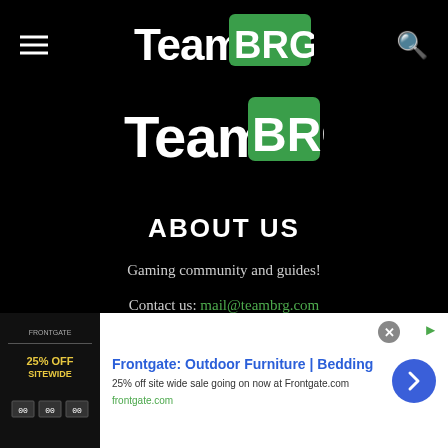[Figure (logo): TeamBRG logo in header navigation bar - white 'Team' text and green pixelated 'BRG' block letters on black background]
[Figure (logo): TeamBRG logo large centered - white 'Team' text and green pixelated 'BRG' block letters on black background]
ABOUT US
Gaming community and guides!
Contact us: mail@teambrg.com
[Figure (infographic): Advertisement banner: Frontgate Outdoor Furniture & Bedding - 25% off site wide sale. Shows product image, blue title text, description, green link frontgate.com, blue arrow button, and close button.]